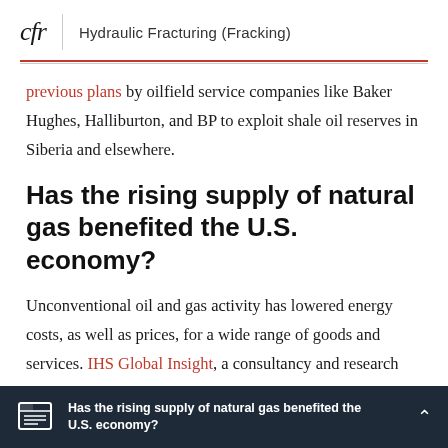cfr | Hydraulic Fracturing (Fracking)
previous plans by oilfield service companies like Baker Hughes, Halliburton, and BP to exploit shale oil reserves in Siberia and elsewhere.
Has the rising supply of natural gas benefited the U.S. economy?
Unconventional oil and gas activity has lowered energy costs, as well as prices, for a wide range of goods and services. IHS Global Insight, a consultancy and research firm, estimated the benefits to
Has the rising supply of natural gas benefited the U.S. economy?